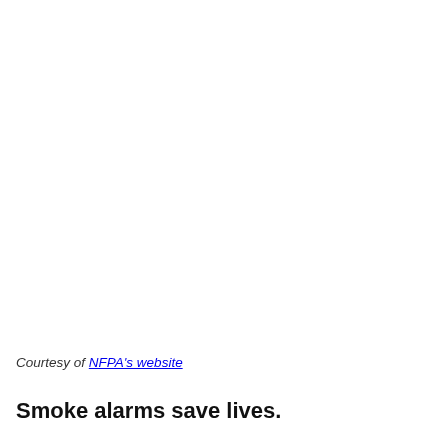Courtesy of NFPA's website
Smoke alarms save lives.